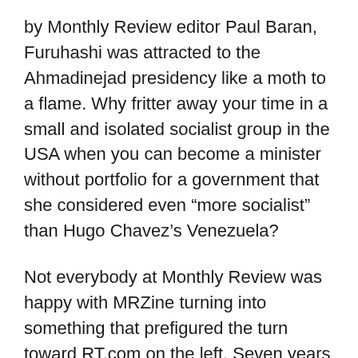by Monthly Review editor Paul Baran, Furuhashi was attracted to the Ahmadinejad presidency like a moth to a flame. Why fritter away your time in a small and isolated socialist group in the USA when you can become a minister without portfolio for a government that she considered even “more socialist” than Hugo Chavez’s Venezuela?
Not everybody at Monthly Review was happy with MRZine turning into something that prefigured the turn toward RT.com on the left. Seven years ago, Barbara Epstein resigned from the MR board because she found the pro-Ahmadinejad material on MRZine unacceptable. Three years earlier 17 Iranians living outside of the country wrote an open letter to Monthly Review with the same complaints. Despite Epstein’s resignation and the open